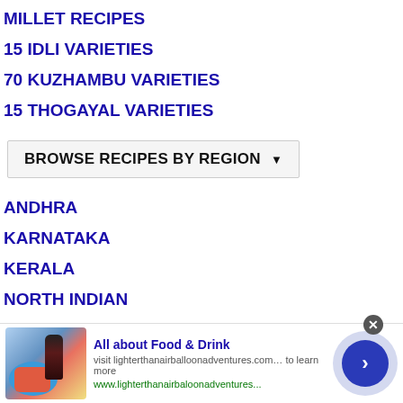MILLET RECIPES
15 IDLI VARIETIES
70 KUZHAMBU VARIETIES
15 THOGAYAL VARIETIES
BROWSE RECIPES BY REGION ▼
ANDHRA
KARNATAKA
KERALA
NORTH INDIAN
INTERNATIONAL
[Figure (other): Advertisement banner: food and drink photo with wine glass and plate of food on blue background, with text 'All about Food & Drink', visit lighterthanairballoonadventures.com... to learn more, www.lighterthanairbaloonadventures..., navigation arrow button]